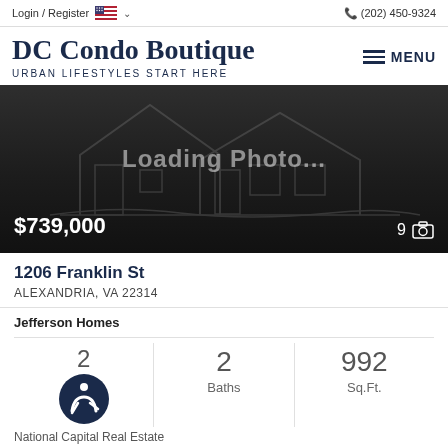Login / Register   (202) 450-9324
DC Condo Boutique
URBAN LIFESTYLES START HERE
[Figure (photo): Loading photo placeholder with house outline graphic, price $739,000 overlaid at bottom left, photo count 9 at bottom right]
1206 Franklin St
ALEXANDRIA, VA 22314
Jefferson Homes
2 Baths  992 Sq.Ft.
National Capital Real Estate